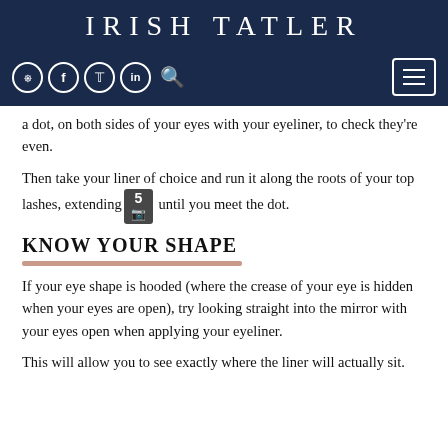IRISH TATLER
[Figure (screenshot): Navigation bar with social media icons (Instagram, Facebook, Twitter, LinkedIn), search icon, and hamburger menu button on dark navy background]
a dot, on both sides of your eyes with your eyeliner, to check they're even.
Then take your liner of choice and run it along the roots of your top lashes, extending out until you meet the dot.
KNOW YOUR SHAPE
If your eye shape is hooded (where the crease of your eye is hidden when your eyes are open), try looking straight into the mirror with your eyes open when applying your eyeliner.
This will allow you to see exactly where the liner will actually sit.